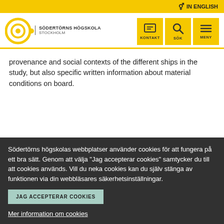IN ENGLISH
[Figure (logo): Södertörns Högskola Stockholm logo with circular target icon]
KONTAKT  SÖK  MENY
provenance and social contexts of the different ships in the study, but also specific written information about material conditions on board.
Södertörns högskolas webbplatser använder cookies för att fungera på ett bra sätt. Genom att välja "Jag accepterar cookies" samtycker du till att cookies används. Vill du neka cookies kan du själv stänga av funktionen via din webbläsares säkerhetsinställningar.
JAG ACCEPTERAR COOKIES
Mer information om cookies